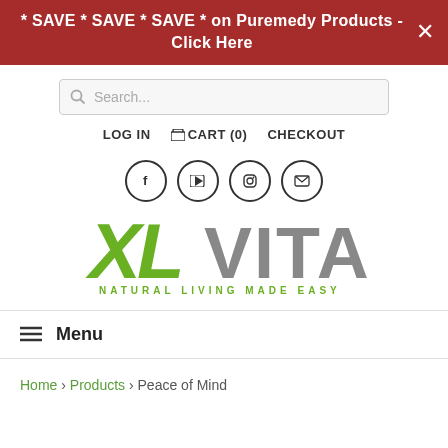* SAVE * SAVE * SAVE * on Puremedy Products - Click Here
[Figure (screenshot): Search bar with magnifying glass icon and placeholder text 'Search...']
LOG IN   🛒 CART (0)   CHECKOUT
[Figure (other): Four social media icon circles: Facebook (f), YouTube (play), Instagram (camera), Email (envelope)]
[Figure (logo): XL VITA logo - 'XL' in green script, 'VITA' in gray block letters, subtitle 'NATURAL LIVING MADE EASY' in green spaced capitals]
≡ Menu
Home > Products > Peace of Mind